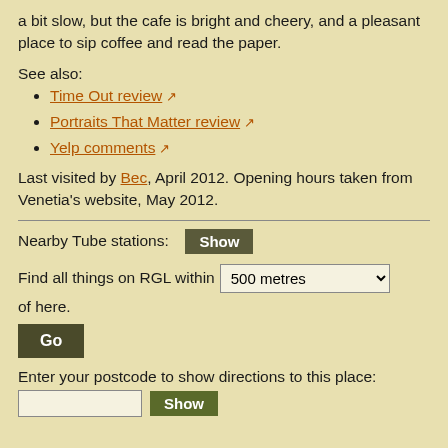a bit slow, but the cafe is bright and cheery, and a pleasant place to sip coffee and read the paper.
See also:
Time Out review [external link]
Portraits That Matter review [external link]
Yelp comments [external link]
Last visited by Bec, April 2012. Opening hours taken from Venetia's website, May 2012.
Nearby Tube stations: Show
Find all things on RGL within 500 metres of here.
Go
Enter your postcode to show directions to this place: